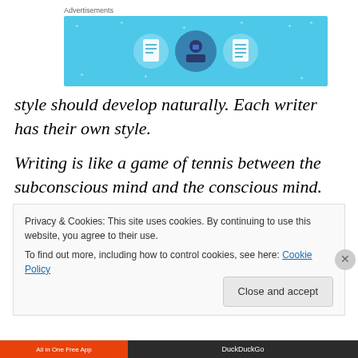[Figure (illustration): Advertisement banner with light blue background showing three circular icons with document/reader figures and decorative stars]
style should develop naturally. Each writer has their own style.
Writing is like a game of tennis between the subconscious mind and the conscious mind.
Privacy & Cookies: This site uses cookies. By continuing to use this website, you agree to their use.
To find out more, including how to control cookies, see here: Cookie Policy
Close and accept